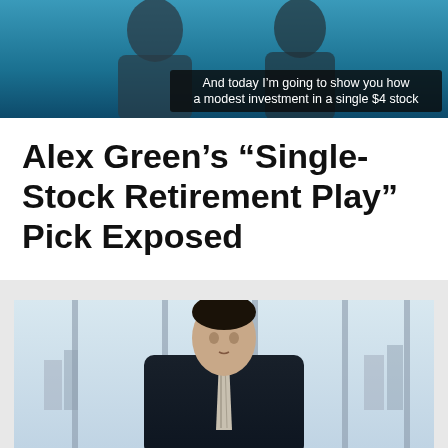[Figure (photo): Video thumbnail showing two people in suits with a dark overlay text box at the bottom reading 'And today I'm going to show you how a modest investment in a single $4 stock']
Alex Green's “Single-Stock Retirement Play” Pick Exposed
[Figure (photo): A man in a dark suit and striped tie standing in front of large windows with a city skyline visible in the background]